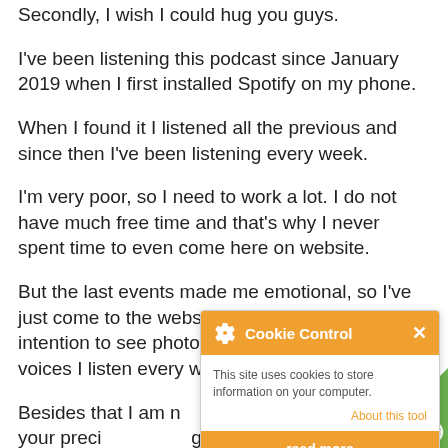Secondly, I wish I could hug you guys.
I've been listening this podcast since January 2019 when I first installed Spotify on my phone.
When I found it I listened all the previous and since then I've been listening every week.
I'm very poor, so I need to work a lot. I do not have much free time and that's why I never spent time to even come here on website.
But the last events made me emotional, so I've just come to the website for the first time in intention to see photos to associate faces to the voices I listen every week. Is that possible ?
Besides that I am n... ery much for your preci... g saying you are som... as role model or influe... my English.
[Figure (screenshot): Cookie Control popup overlay showing orange header with gear icon and X close button, body text 'This site uses cookies to store information on your computer.', 'About this tool' link in orange, and orange 'read more' button at bottom.]